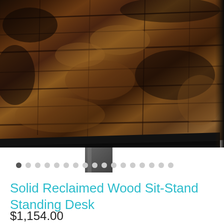[Figure (photo): Close-up photo of a reclaimed wood desk surface with dark wood grain pattern and black metal frame edge, with a metal leg visible at the bottom center. Image carousel dots are shown below the photo.]
Solid Reclaimed Wood Sit-Stand Standing Desk
$1,154.00